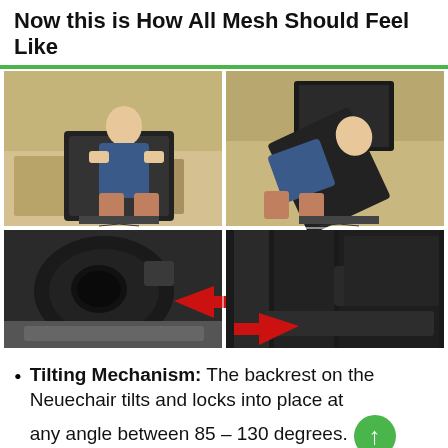Now this is How All Mesh Should Feel Like
[Figure (photo): Four photos in a 2x2 grid: top-left shows a person sitting upright in a mesh office chair (Neuechair) in a room; top-right shows the same person reclining back in the chair; bottom-left shows a close-up of the chair's tilt mechanism with a red arrow pointing right; bottom-right shows another close-up of the tilt lock mechanism with a red arrow pointing left.]
Tilting Mechanism: The backrest on the Neuechair tilts and locks into place at any angle between 85 – 130 degrees.
There's a "Focus Mode" that actually